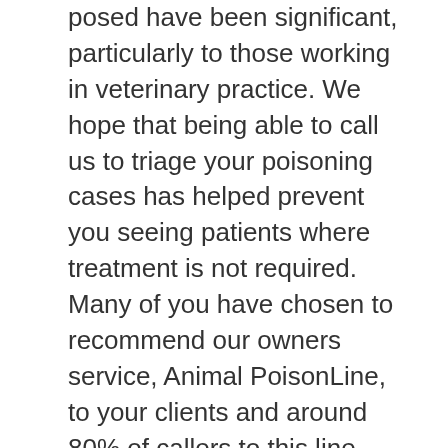posed have been significant, particularly to those working in veterinary practice. We hope that being able to call us to triage your poisoning cases has helped prevent you seeing patients where treatment is not required.  Many of you have chosen to recommend our owners service, Animal PoisonLine, to your clients and around 80% of callers to this line have been able to observe their pet at home which has been reassuring for them, especially if they have been isolating or shielding. Although the start of 2021 is looking to be tough for us all, we have to hope that the vaccine will bring us back some normality in the months to come.
A very happy New Year from all the VPIS team and we look forward to continuing to support you with